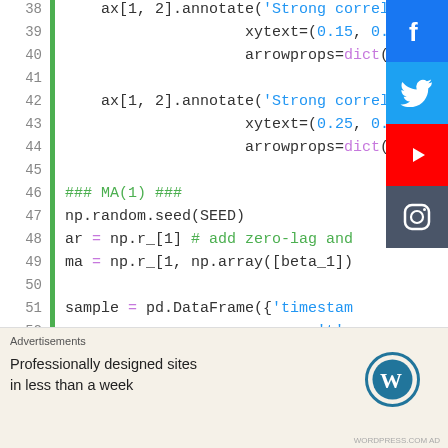[Figure (screenshot): Python code snippet showing matplotlib/seaborn/numpy code with line numbers 38-58, syntax highlighted in a code editor style. Lines show annotate calls, MA(1) comment section, np.random.seed, array definitions, pd.DataFrame construction, sns.lineplot, ax set_xlim and set_title calls.]
[Figure (screenshot): Social media share buttons for Facebook (blue), Twitter (blue), YouTube (red), and Instagram (dark blue-gray) on the right side]
Advertisements
Professionally designed sites in less than a week